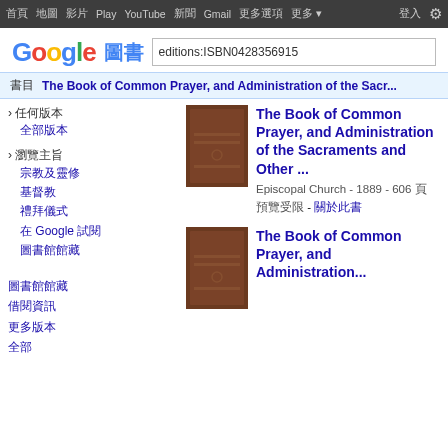首頁 地圖 影片 Play YouTube 新聞 Gmail 更多選項 更多 ▾
[Figure (logo): Google 圖書 logo with search box containing 'editions:ISBN0428356915']
書目  The Book of Common Prayer, and Administration of the Sacr...
› 任何版本
全部版本
› 瀏覽主旨
宗教及靈修
基督教
禮拜儀式
在 Google 試閱
圖書館館藏
The Book of Common Prayer, and Administration of the Sacraments and Other ...
Episcopal Church - 1889 - 606 頁
預覽受限 - 關於此書
圖書館館藏
借閱資訊
更多版本
全部
The Book of Common Prayer, and Administration...